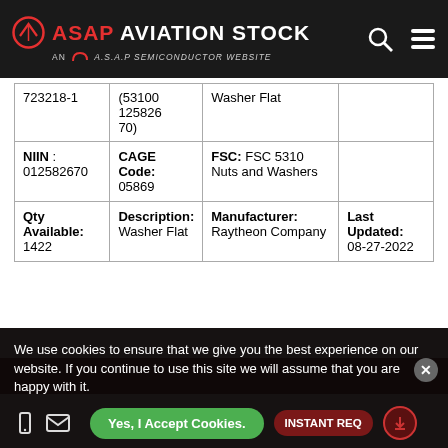ASAP AVIATION STOCK — AN A.S.A.P SEMICONDUCTOR WEBSITE
| Part / NSN | CAGE/FSC | Description/FSC | Last Updated |
| --- | --- | --- | --- |
| 723218-1 | (53100 12582670) | Washer Flat |  |
| NIIN: 012582670 | CAGE Code: 05869 | FSC: FSC 5310 Nuts and Washers |  |
| Qty Available: 1422 | Description: Washer Flat | Manufacturer: Raytheon Company | Last Updated: 08-27-2022 |
We use cookies to ensure that we give you the best experience on our website. If you continue to use this site we will assume that you are happy with it.